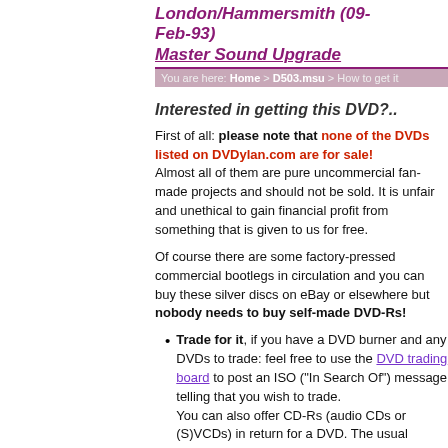London/Hammersmith (09-Feb-93) Master Sound Upgrade
You are here: Home > D503.msu > How to get it
Interested in getting this DVD?..
First of all: please note that none of the DVDs listed on DVDylan.com are for sale! Almost all of them are pure uncommercial fan-made projects and should not be sold. It is unfair and unethical to gain financial profit from something that is given to us for free.
Of course there are some factory-pressed commercial bootlegs in circulation and you can buy these silver discs on eBay or elsewhere but nobody needs to buy self-made DVD-Rs!
Trade for it, if you have a DVD burner and any DVDs to trade: feel free to use the DVD trading board to post an ISO ("In Search Of") message telling that you wish to trade. You can also offer CD-Rs (audio CDs or (S)VCDs) in return for a DVD. The usual trading rate is 2:1 to 3:1 (2 or 3 CDs for one DVD).